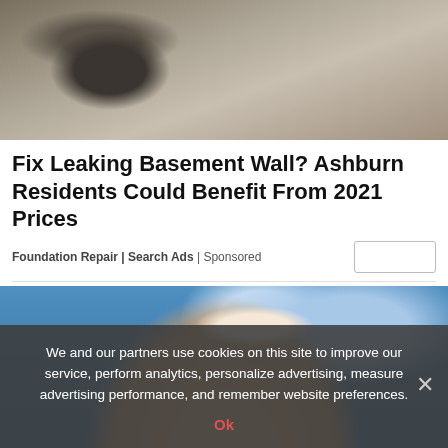[Figure (photo): Construction site photo showing a foundation wall and excavated dirt/soil with rocks]
Fix Leaking Basement Wall? Ashburn Residents Could Benefit From 2021 Prices
Foundation Repair | Search Ads | Sponsored
[Figure (photo): Close-up of a woman's face with a white flower in her hair against a blue water background, partially covered by a cookie consent banner]
We and our partners use cookies on this site to improve our service, perform analytics, personalize advertising, measure advertising performance, and remember website preferences.
Ok